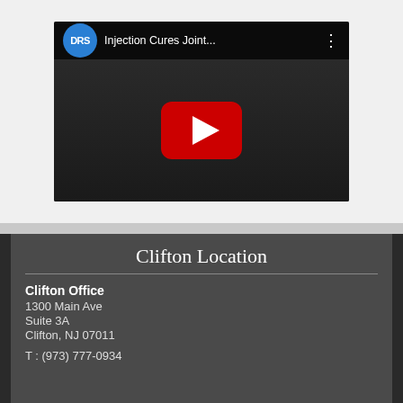[Figure (screenshot): YouTube video thumbnail showing 'Injection Cures Joint...' with DRS channel logo, YouTube play button overlay, and dark background showing medical procedure footage]
Clifton Location
Clifton Office
1300 Main Ave
Suite 3A
Clifton, NJ 07011
T : (973) 777-0934